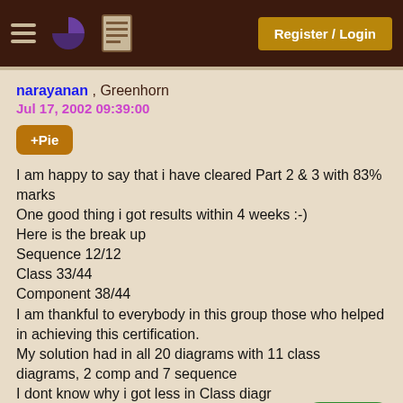Register / Login
narayanan , Greenhorn
Jul 17, 2002 09:39:00
+Pie
I am happy to say that i have cleared Part 2 & 3 with 83% marks
One good thing i got results within 4 weeks :-)
Here is the break up
Sequence 12/12
Class 33/44
Component 38/44
I am thankful to everybody in this group those who helped in achieving this certification.
My solution had in all 20 diagrams with 11 class diagrams, 2 comp and 7 sequence
I dont know why i got less in Class diagrams, as i have provided all minute details. I have also shown view of participating classes diagram.